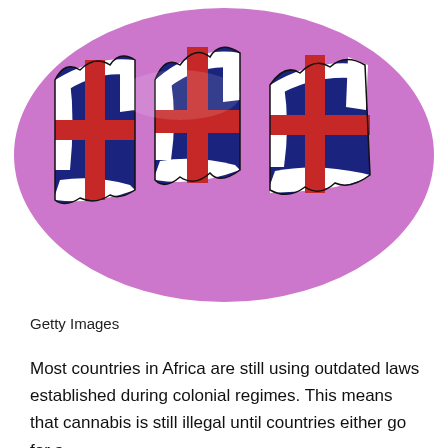[Figure (illustration): Stylized illustration of a waving Union Jack (UK flag) on a purple oval background. The flag is rendered in a painterly/grunge style with red, white, and blue colors.]
Getty Images
Most countries in Africa are still using outdated laws established during colonial regimes. This means that cannabis is still illegal until countries either go for a